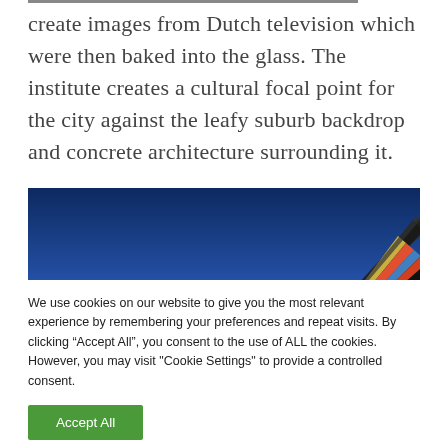create images from Dutch television which were then baked into the glass. The institute creates a cultural focal point for the city against the leafy suburb backdrop and concrete architecture surrounding it.
[Figure (photo): Partial photograph showing a colorful architectural detail (stained glass or mosaic panel) against a deep blue sky, viewed from a low angle.]
We use cookies on our website to give you the most relevant experience by remembering your preferences and repeat visits. By clicking “Accept All”, you consent to the use of ALL the cookies. However, you may visit "Cookie Settings" to provide a controlled consent.